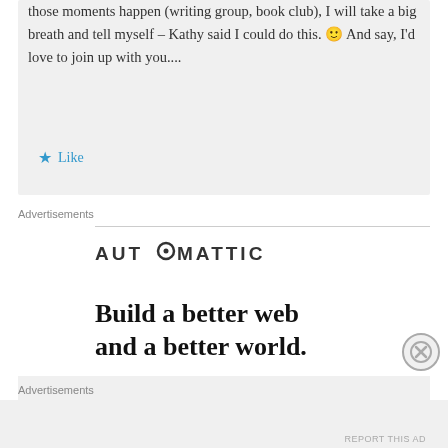those moments happen (writing group, book club), I will take a big breath and tell myself – Kathy said I could do this. 🙂 And say, I'd love to join up with you....
★ Like
Advertisements
[Figure (logo): AUTOMATTIC logo with circular ring symbol replacing the O]
Build a better web and a better world.
Advertisements